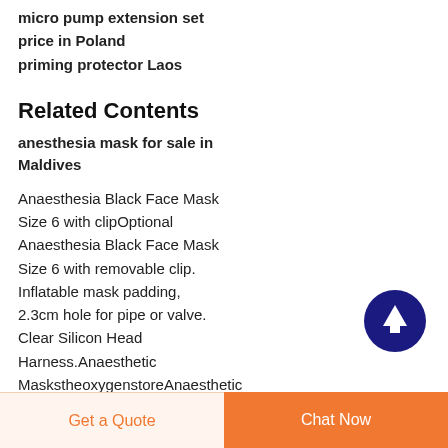micro pump extension set price in Poland
priming protector Laos
Related Contents
anesthesia mask for sale in Maldives
Anaesthesia Black Face Mask Size 6 with clipOptional Anaesthesia Black Face Mask Size 6 with removable clip. Inflatable mask padding, 2.3cm hole for pipe or valve. Clear Silicon Head Harness.Anaesthetic MaskstheoxygenstoreAnaesthetic
[Figure (illustration): Circular dark blue button with white upward arrow icon, used as a scroll-to-top button]
Get a Quote
Chat Now